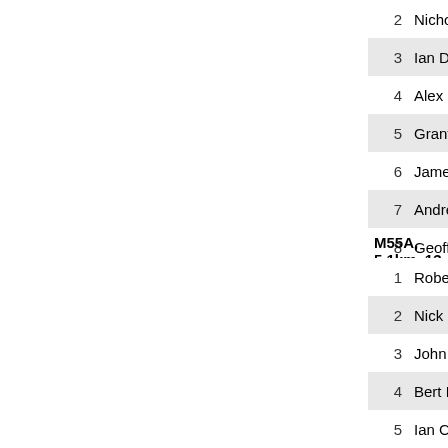| # | Name | Club |
| --- | --- | --- |
| 2 | Nicholas WILMOTT | UR |
| 3 | Ian Dempsey | No |
| 4 | Alex Davey | 0 |
| 5 | Grant McDonald | AC |
| 6 | James Lithgow | Go |
| 7 | Andrew Lumsden | 0 |
| 8 | Geoff Peel | 0 |
| 9 | John Scown | 0 |
| 10 | Melvyn Cox | 0 |
| 11 | Tony Garr | PC |
| 12 | David Jenkins | BS |
|  | Rodney PARKIN | BN |
M55A, 5.1km, 13 control
| # | Name | Club |
| --- | --- | --- |
| 1 | Robert Preston | 0 |
| 2 | Nick Dent |  |
| 3 | John Oliver | WR |
| 4 | Bert Elson | 0 |
| 5 | Ian Cameron | GO |
| 6 | Bruce Bowen | 0 |
| 7 | Peter Shepherd | 0 |
| 8 | Bill Jones | RR |
| 9 | Paul Prudhoe | 0 |
| 10 | Colin Price | 0 |